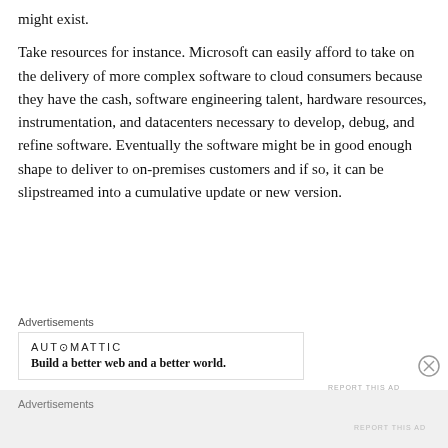might exist.
Take resources for instance. Microsoft can easily afford to take on the delivery of more complex software to cloud consumers because they have the cash, software engineering talent, hardware resources, instrumentation, and datacenters necessary to develop, debug, and refine software. Eventually the software might be in good enough shape to deliver to on-premises customers and if so, it can be slipstreamed into a cumulative update or new version.
Advertisements
[Figure (other): Automattic advertisement: logo text 'AUT⊙MATTIC' with tagline 'Build a better web and a better world.']
REPORT THIS AD
Advertisements
REPORT THIS AD